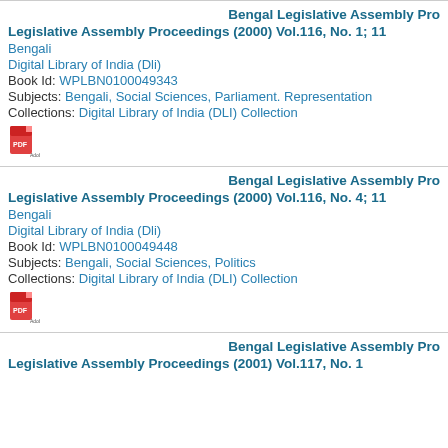Bengal Legislative Assembly Pro
Legislative Assembly Proceedings (2000) Vol.116, No. 1; 11
Bengali
Digital Library of India (Dli)
Book Id: WPLBN0100049343
Subjects: Bengali, Social Sciences, Parliament. Representation
Collections: Digital Library of India (DLI) Collection
[Figure (other): PDF icon]
Bengal Legislative Assembly Pro
Legislative Assembly Proceedings (2000) Vol.116, No. 4; 11
Bengali
Digital Library of India (Dli)
Book Id: WPLBN0100049448
Subjects: Bengali, Social Sciences, Politics
Collections: Digital Library of India (DLI) Collection
[Figure (other): PDF icon]
Bengal Legislative Assembly Pro
Legislative Assembly Proceedings (2001) Vol.117, No. 1